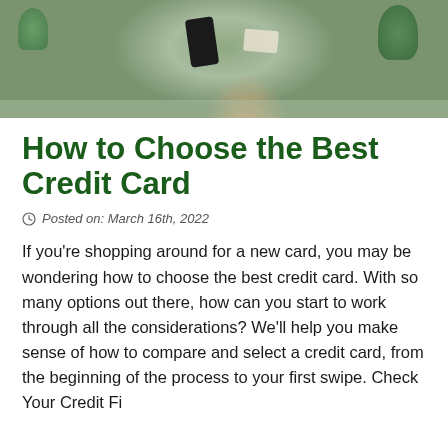[Figure (photo): Photo of a person in a green sweater holding a smartphone and a credit card, with a plant visible in the background.]
How to Choose the Best Credit Card
Posted on: March 16th, 2022
If you're shopping around for a new card, you may be wondering how to choose the best credit card. With so many options out there, how can you start to work through all the considerations? We'll help you make sense of how to compare and select a credit card, from the beginning of the process to your first swipe. Check Your Credit Fi...